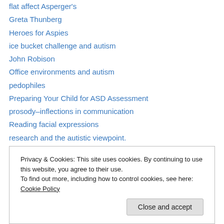flat affect Asperger's
Greta Thunberg
Heroes for Aspies
ice bucket challenge and autism
John Robison
Office environments and autism
pedophiles
Preparing Your Child for ASD Assessment
prosody–inflections in communication
Reading facial expressions
research and the autistic viewpoint.
Seattle Seahawks and Autism
sexual abuse
sexual abuse survivors
Privacy & Cookies: This site uses cookies. By continuing to use this website, you agree to their use.
To find out more, including how to control cookies, see here: Cookie Policy